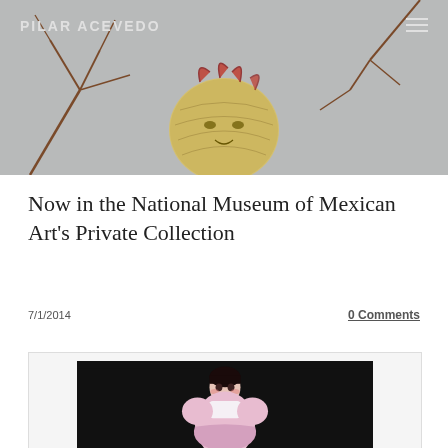PILAR ACEVEDO
[Figure (photo): Header image showing a decorative ceramic head/skull with branches, against a light gray background]
Now in the National Museum of Mexican Art's Private Collection
7/1/2014
0 Comments
[Figure (photo): Painting of a young child with dark hair wearing a pink dress, seated against a black background]